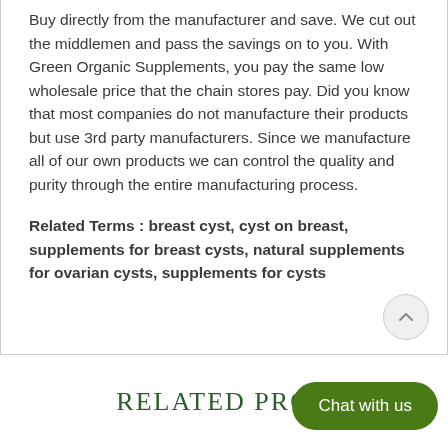Buy directly from the manufacturer and save. We cut out the middlemen and pass the savings on to you. With Green Organic Supplements, you pay the same low wholesale price that the chain stores pay. Did you know that most companies do not manufacture their products but use 3rd party manufacturers. Since we manufacture all of our own products we can control the quality and purity through the entire manufacturing process.
Related Terms : breast cyst, cyst on breast, supplements for breast cysts, natural supplements for ovarian cysts, supplements for cysts
RELATED PRODUCTS
Chat with us